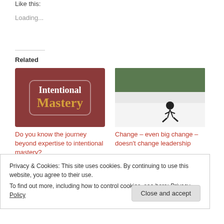Like this:
Loading...
Related
[Figure (illustration): Intentional Mastery book cover — brown/maroon background with white border, text 'Intentional' in white and 'Mastery' in gold/yellow]
Do you know the journey beyond expertise to intentional mastery?
[Figure (photo): Skier on a snowy slope with pine trees in the background]
Change – even big change – doesn't change leadership
Privacy & Cookies: This site uses cookies. By continuing to use this website, you agree to their use.
To find out more, including how to control cookies, see here: Privacy Policy
Close and accept